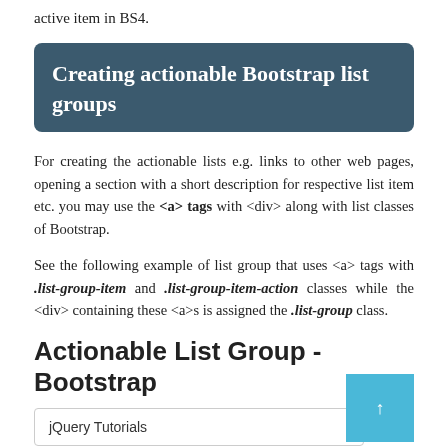active item in BS4.
Creating actionable Bootstrap list groups
For creating the actionable lists e.g. links to other web pages, opening a section with a short description for respective list item etc. you may use the <a> tags with <div> along with list classes of Bootstrap.
See the following example of list group that uses <a> tags with .list-group-item and .list-group-item-action classes while the <div> containing these <a>s is assigned the .list-group class.
Actionable List Group - Bootstrap
jQuery Tutorials